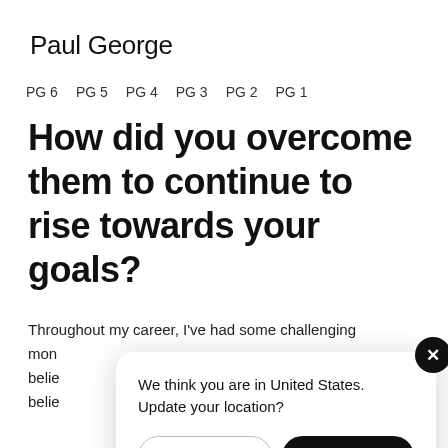Paul George
PG 6   PG 5   PG 4   PG 3   PG 2   PG 1
How did you overcome them to continue to rise towards your goals?
Throughout my career, I've had some challenging moments... believe... believe
We think you are in United States. Update your location?   [Denmark]  [United States]